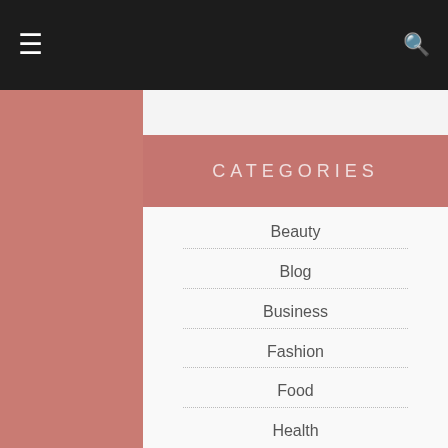≡  🔍
CATEGORIES
Beauty
Blog
Business
Fashion
Food
Health
Miscellaneous
Money